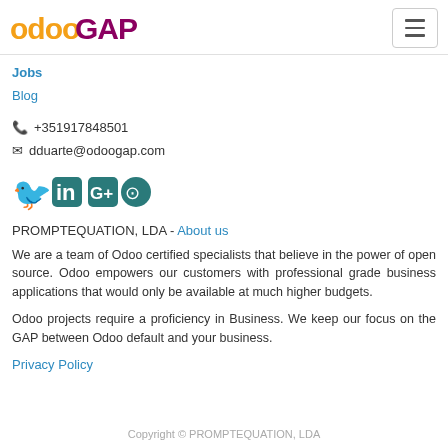[Figure (logo): OdooGAP logo with orange 'odoo' text and dark magenta 'GAP' text, plus hamburger menu icon]
Jobs
Blog
+351917848501
dduarte@odoogap.com
[Figure (illustration): Social media icons: Twitter, LinkedIn, Google+, GitHub in teal color]
PROMPTEQUATION, LDA - About us
We are a team of Odoo certified specialists that believe in the power of open source. Odoo empowers our customers with professional grade business applications that would only be available at much higher budgets.
Odoo projects require a proficiency in Business. We keep our focus on the GAP between Odoo default and your business.
Privacy Policy
Copyright © PROMPTEQUATION, LDA